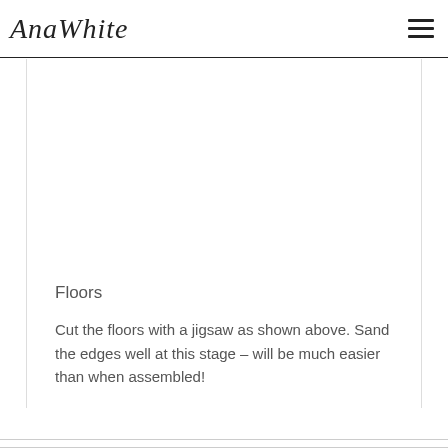AnaWhite
Floors
Cut the floors with a jigsaw as shown above. Sand the edges well at this stage – will be much easier than when assembled!